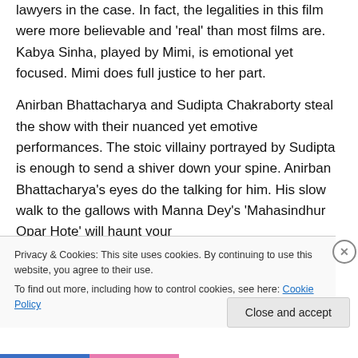lawyers in the case. In fact, the legalities in this film were more believable and 'real' than most films are. Kabya Sinha, played by Mimi, is emotional yet focused. Mimi does full justice to her part.
Anirban Bhattacharya and Sudipta Chakraborty steal the show with their nuanced yet emotive performances. The stoic villainy portrayed by Sudipta is enough to send a shiver down your spine. Anirban Bhattacharya's eyes do the talking for him. His slow walk to the gallows with Manna Dey's 'Mahasindhur Opar Hote' will haunt your
Privacy & Cookies: This site uses cookies. By continuing to use this website, you agree to their use.
To find out more, including how to control cookies, see here: Cookie Policy
Close and accept